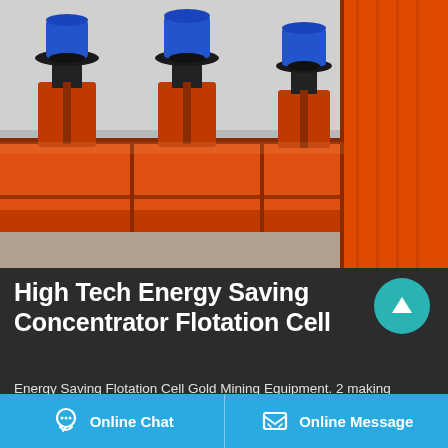[Figure (photo): Industrial flotation cell equipment — large orange rectangular tanks with blue electric motors mounted on top, arranged in a row in a factory/warehouse setting.]
High Tech Energy Saving Concentrator Flotation Cell
Energy Saving Flotation Cell Gold Mining Equipment. 2 making machine gold ore extraction equipment flotation cell.Pilot plant
Online Chat   Online Message